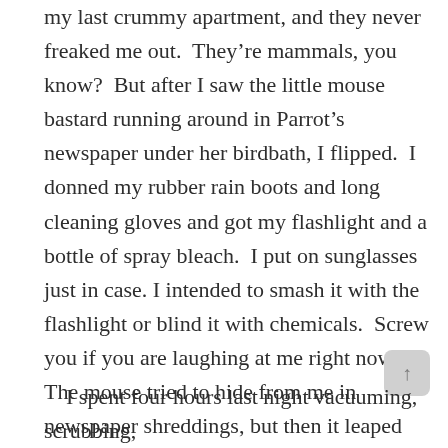my last crummy apartment, and they never freaked me out.  They're mammals, you know?  But after I saw the little mouse bastard running around in Parrot's newspaper under her birdbath, I flipped.  I donned my rubber rain boots and long cleaning gloves and got my flashlight and a bottle of spray bleach.  I put on sunglasses just in case. I intended to smash it with the flashlight or blind it with chemicals.  Screw you if you are laughing at me right now.  The mouse tried to hide from me in newspaper shreddings, but then it leaped through the bars of Parrot's cage.  I pursued, but somehow it escaped.  Asshole.  WHERE DID IT GO?  I CAN'T FIND THE HOLE!
I spent four hours last night vacuuming, scrubbing,